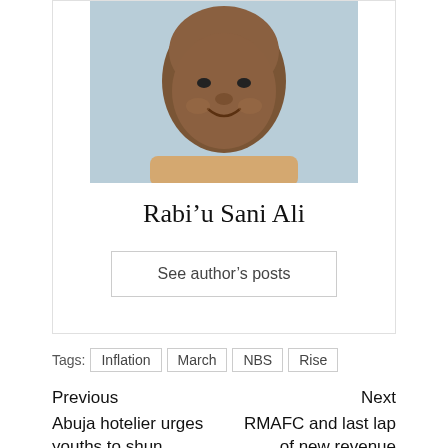[Figure (photo): Portrait photo of Rabi'u Sani Ali, a man smiling, shown from shoulders up against a light blue background]
Rabi'u Sani Ali
See author's posts
Tags: Inflation March NBS Rise
Previous
Abuja hotelier urges youths to shun 'yahoo, ritual money'
Next
RMAFC and last lap of new revenue sharing formula